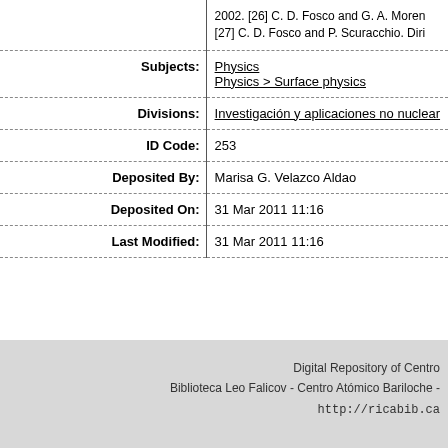| References (partial) | 2002. [26] C. D. Fosco and G. A. Moren [27] C. D. Fosco and P. Scuracchio. Diri |
| Subjects: | Physics
Physics > Surface physics |
| Divisions: | Investigación y aplicaciones no nuclear |
| ID Code: | 253 |
| Deposited By: | Marisa G. Velazco Aldao |
| Deposited On: | 31 Mar 2011 11:16 |
| Last Modified: | 31 Mar 2011 11:16 |
Digital Repository of Centro
Biblioteca Leo Falicov - Centro Atómico Bariloche -
http://ricabib.ca